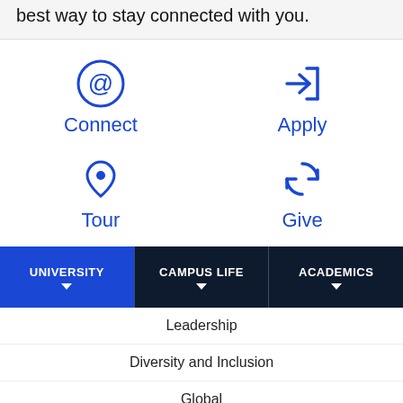best way to stay connected with you.
[Figure (infographic): Four action icons: Connect (@ symbol), Apply (arrow into bracket), Tour (map pin), Give (refresh/cycle arrows), each with blue icon and label below]
UNIVERSITY
CAMPUS LIFE
ACADEMICS
Leadership
Diversity and Inclusion
Global